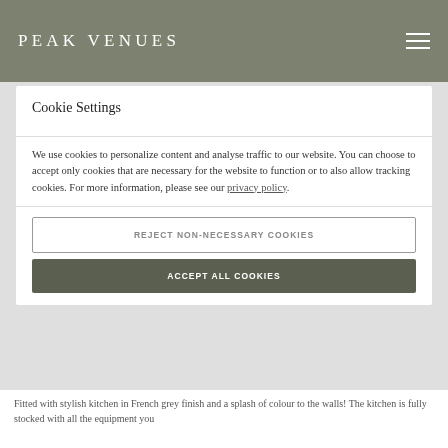PEAK VENUES
Cookie Settings
We use cookies to personalize content and analyse traffic to our website. You can choose to accept only cookies that are necessary for the website to function or to also allow tracking cookies. For more information, please see our privacy policy.
REJECT NON-NECESSARY COOKIES
ACCEPT ALL COOKIES
Fitted with stylish kitchen in French grey finish and a splash of colour to the walls! The kitchen is fully stocked with all the equipment you